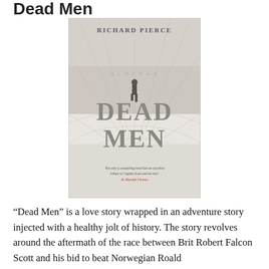Dead Men
[Figure (illustration): Book cover of 'Dead Men' by Richard Pierce. A pale grey/white cover featuring a lone figure standing at what appears to be a polar landscape with radiating lines suggesting a compass or map behind them. Large bold grey text reads 'DEAD MEN'. At the top: 'RICHARD PIERCE'. A quote at the bottom: 'Not only a compelling novel but an excellent tribute to Captain Scott and his men' Sir Ranulph Fiennes]
“Dead Men” is a love story wrapped in an adventure story injected with a healthy jolt of history. The story revolves around the aftermath of the race between Brit Robert Falcon Scott and his bid to beat Norwegian Roald